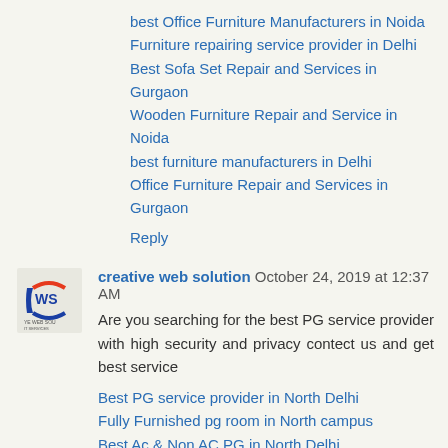best Office Furniture Manufacturers in Noida
Furniture repairing service provider in Delhi
Best Sofa Set Repair and Services in Gurgaon
Wooden Furniture Repair and Service in Noida
best furniture manufacturers in Delhi
Office Furniture Repair and Services in Gurgaon
Reply
creative web solution  October 24, 2019 at 12:37 AM
Are you searching for the best PG service provider with high security and privacy contect us and get best service
Best PG service provider in North Delhi
Fully Furnished pg room in North campus
Best Ac & Non AC PG in North Delhi
Separate & sharing rooms PG in North Campus
Cheapest PG service provider in north Delhi
Reply